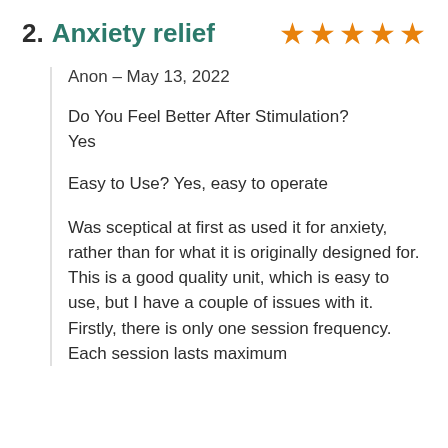2. Anxiety relief ★★★★★
Anon – May 13, 2022
Do You Feel Better After Stimulation? Yes
Easy to Use? Yes, easy to operate
Was sceptical at first as used it for anxiety, rather than for what it is originally designed for.
This is a good quality unit, which is easy to use, but I have a couple of issues with it.
Firstly, there is only one session frequency. Each session lasts maximum